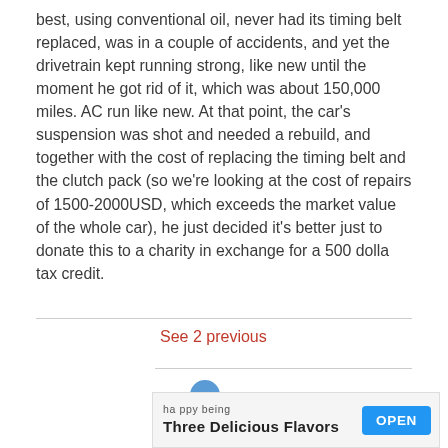best, using conventional oil, never had its timing belt replaced, was in a couple of accidents, and yet the drivetrain kept running strong, like new until the moment he got rid of it, which was about 150,000 miles. AC run like new. At that point, the car's suspension was shot and needed a rebuild, and together with the cost of replacing the timing belt and the clutch pack (so we're looking at the cost of repairs of 1500-2000USD, which exceeds the market value of the whole car), he just decided it's better just to donate this to a charity in exchange for a 500 dollar tax credit.
See 2 previous
[Figure (other): Advertisement banner with text 'happy being Three Delicious Flavors' and an OPEN button]